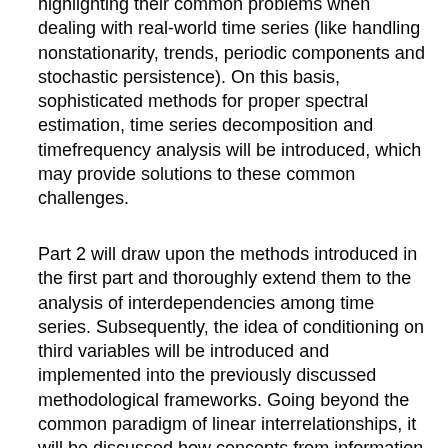highlighting their common problems when dealing with real-world time series (like handling nonstationarity, trends, periodic components and stochastic persistence). On this basis, sophisticated methods for proper spectral estimation, time series decomposition and timefrequency analysis will be introduced, which may provide solutions to these common challenges.
Part 2 will draw upon the methods introduced in the first part and thoroughly extend them to the analysis of interdependencies among time series. Subsequently, the idea of conditioning on third variables will be introduced and implemented into the previously discussed methodological frameworks. Going beyond the common paradigm of linear interrelationships, it will be discussed how concepts from information theory and statistical mechanics can be employed to generalize correlation based methods in a way that also general (nonlinear) statistical